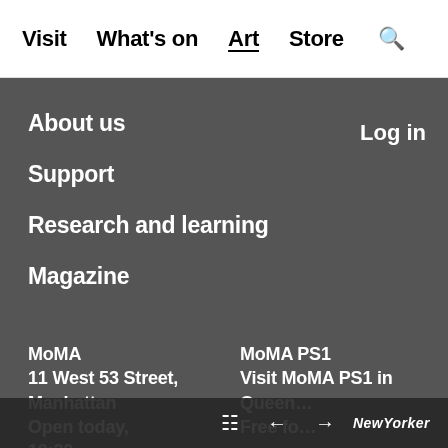Visit  What's on  Art  Store  🔍
About us
Log in
Support
Research and learning
Magazine
MoMA
11 West 53 Street,
Manhattan
Open today,
10:30…
MoMA PS1
Visit MoMA PS1 in
Queen…
Free fo…